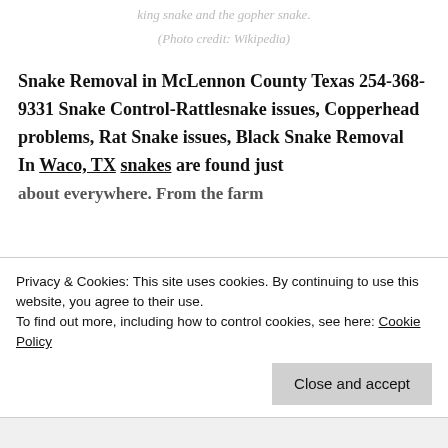king snake and the gopher snake.
(Photo credit: Wikipedia)
Snake Removal in McLennon County Texas 254-368-9331 Snake Control-Rattlesnake issues, Copperhead problems, Rat Snake issues, Black Snake Removal In Waco, TX snakes are found just about everywhere. From the farm
Privacy & Cookies: This site uses cookies. By continuing to use this website, you agree to their use.
To find out more, including how to control cookies, see here: Cookie Policy
Close and accept